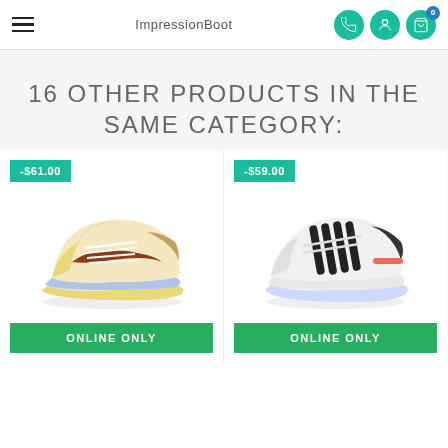ImpressionBoot
16 OTHER PRODUCTS IN THE SAME CATEGORY:
[Figure (photo): Sneaker product card with -$61.00 discount badge showing a colorful Nike Air Jordan 1 Mid sneaker with yellow, blue, and brown colorway, with ONLINE ONLY button]
[Figure (photo): Sneaker product card with -$59.00 discount badge showing a Nike sneaker with black, white, and coral stripe design, with ONLINE ONLY button]